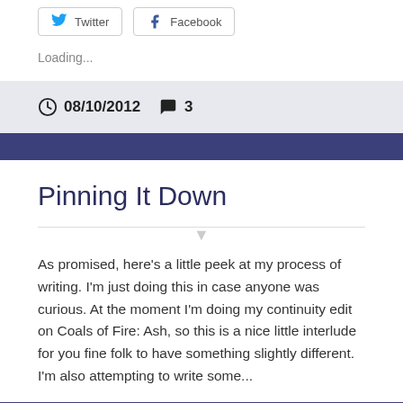Twitter  Facebook
Loading...
08/10/2012  3
Pinning It Down
As promised, here's a little peek at my process of writing. I'm just doing this in case anyone was curious. At the moment I'm doing my continuity edit on Coals of Fire: Ash, so this is a nice little interlude for you fine folk to have something slightly different. I'm also attempting to write some...